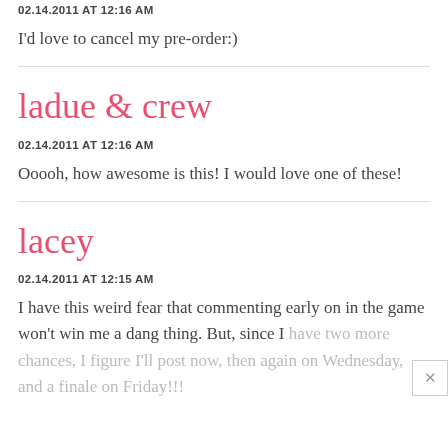02.14.2011 AT 12:16 AM
I'd love to cancel my pre-order:)
ladue & crew
02.14.2011 AT 12:16 AM
Ooooh, how awesome is this! I would love one of these!
lacey
02.14.2011 AT 12:15 AM
I have this weird fear that commenting early on in the game won't win me a dang thing. But, since I have two more chances, I figure I'll post now, then again on Wednesday, and a finale on Friday!!!